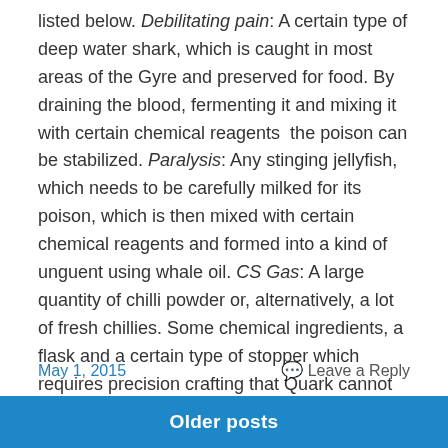listed below. Debilitating pain: A certain type of deep water shark, which is caught in most areas of the Gyre and preserved for food. By draining the blood, fermenting it and mixing it with certain chemical reagents  the poison can be stabilized. Paralysis: Any stinging jellyfish, which needs to be carefully milked for its poison, which is then mixed with certain chemical reagents and formed into a kind of unguent using whale oil. CS Gas: A large quantity of chilli powder or, alternatively, a lot of fresh chillies. Some chemical ingredients, a flask and a certain type of stopper which requires precision crafting that Quark cannot do.
May 1, 2015
Leave a Reply
Older posts